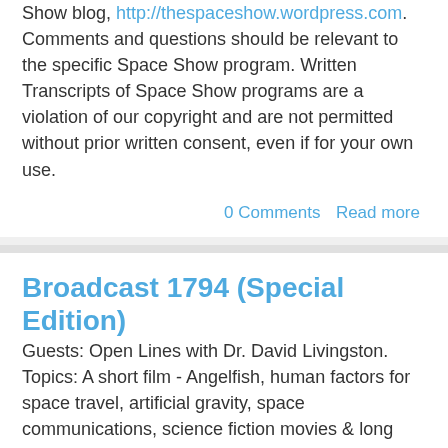Show blog, http://thespaceshow.wordpress.com. Comments and questions should be relevant to the specific Space Show program. Written Transcripts of Space Show programs are a violation of our copyright and are not permitted without prior written consent, even if for your own use.
0 Comments  Read more
Broadcast 1794 (Special Edition)
Guests: Open Lines with Dr. David Livingston. Topics: A short film - Angelfish, human factors for space travel, artificial gravity, space communications, science fiction movies & long term science projects, risk taking. You are invited to comment, ask questions, and discuss the Space Show program/guest(s) on the Space Show blog, http://thespaceshow.wordpress.com. Comments, questions, and any discussion must be relevant and